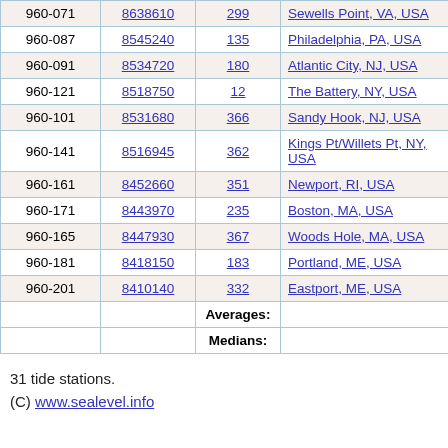| ID | Station | Value | Location |
| --- | --- | --- | --- |
| 960-071 | 8638610 | 299 | Sewells Point, VA, USA |
| 960-087 | 8545240 | 135 | Philadelphia, PA, USA |
| 960-091 | 8534720 | 180 | Atlantic City, NJ, USA |
| 960-121 | 8518750 | 12 | The Battery, NY, USA |
| 960-101 | 8531680 | 366 | Sandy Hook, NJ, USA |
| 960-141 | 8516945 | 362 | Kings Pt/Willets Pt, NY, USA |
| 960-161 | 8452660 | 351 | Newport, RI, USA |
| 960-171 | 8443970 | 235 | Boston, MA, USA |
| 960-165 | 8447930 | 367 | Woods Hole, MA, USA |
| 960-181 | 8418150 | 183 | Portland, ME, USA |
| 960-201 | 8410140 | 332 | Eastport, ME, USA |
|  |  | Averages: |  |
|  |  | Medians: |  |
31 tide stations.
(C) www.sealevel.info